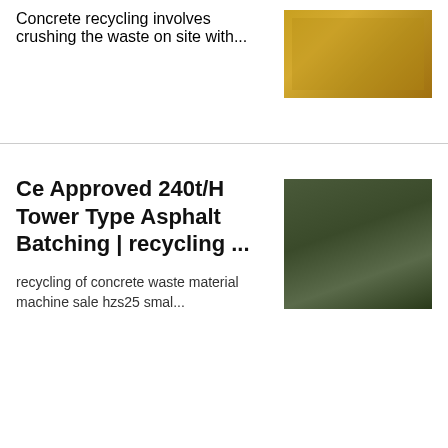Concrete recycling involves crushing the waste on site with...
[Figure (photo): Yellow construction machinery/crusher equipment on a job site]
Ce Approved 240t/H Tower Type Asphalt Batching | recycling ...
[Figure (photo): Mobile jaw crusher machine operating in rocky terrain with gravel]
recycling of concrete waste material machine sale hzs25 smal...
Concrete Wastewater & Slurry Treatment | ALAR Corp.
[Figure (photo): Red industrial crushing/screening plant machinery]